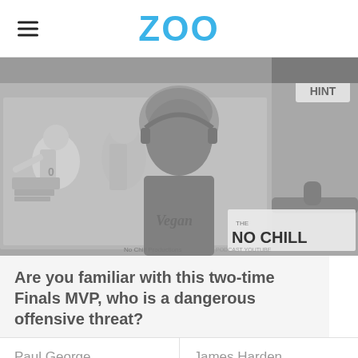ZOO
[Figure (screenshot): Video screenshot from 'The No Chill' podcast/production showing a man wearing a beanie hat and hoodie sitting in front of basketball player illustrations/artwork on the wall. A microphone is visible. The image is in grayscale. A 'HINT' button appears top right and 'THE NO CHILL' branding and 'No Chill Productions' text appears at the bottom right.]
Are you familiar with this two-time Finals MVP, who is a dangerous offensive threat?
Paul George
James Harden